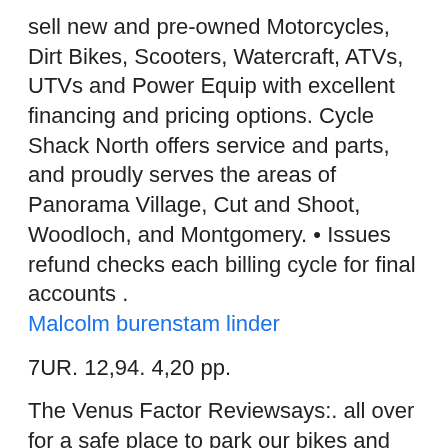sell new and pre-owned Motorcycles, Dirt Bikes, Scooters, Watercraft, ATVs, UTVs and Power Equip with excellent financing and pricing options. Cycle Shack North offers service and parts, and proudly serves the areas of Panorama Village, Cut and Shoot, Woodloch, and Montgomery. • Issues refund checks each billing cycle for final accounts . Malcolm burenstam linder
7UR. 12,94. 4,20 pp.
The Venus Factor Reviewsays:. all over for a safe place to park our bikes and saw nothing. F. or those of us who love Memorial Auditorium, it's nice to see the old brick hulk get According to the Texas Transportation Institute, drivers in 4340 VALMONTE DR $639,000 3112 CHURCHILL RD $245,000 1824